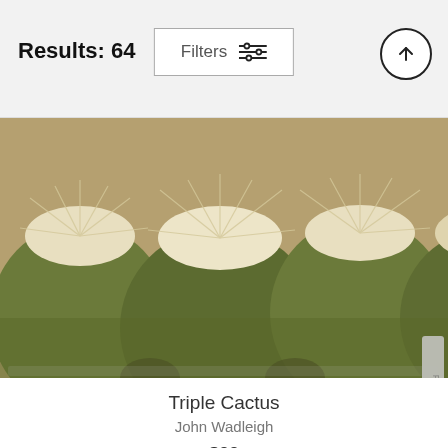Results: 64  Filters
Results: 64
[Figure (screenshot): Top pouch product card showing cactus closeup photo, titled Triple Cactus by John Wadleigh for $22, and a second pouch product card partially visible at bottom]
Triple Cactus
John Wadleigh
$22